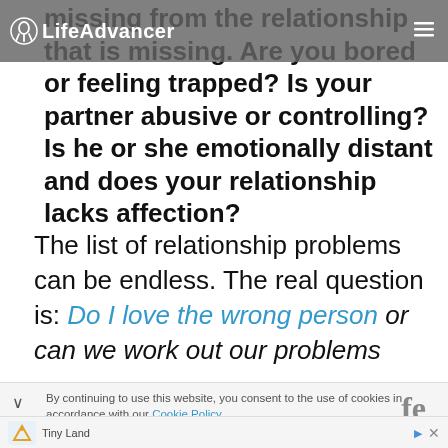LifeAdvancer
missing from the relationship that is missing. Are you bored or feeling trapped? Is your partner abusive or controlling? Is he or she emotionally distant and does your relationship lacks affection?
The list of relationship problems can be endless. The real question is: Do I love the wrong person or can we work out our problems
By continuing to use this website, you consent to the use of cookies in accordance with our Cookie Policy.
Tiny Land
Play Kitchen with Cookware Accessories | Tiny Land | All for Kids
$159.99
OPEN